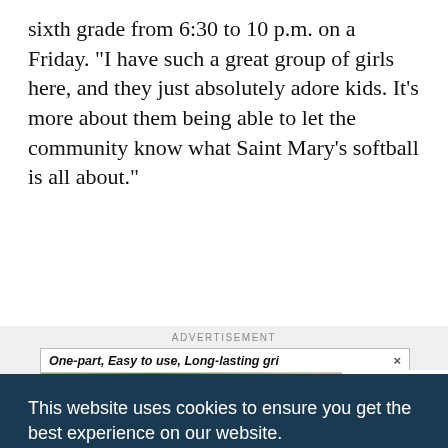sixth grade from 6:30 to 10 p.m. on a Friday. "I have such a great group of girls here, and they just absolutely adore kids. It's more about them being able to let the community know what Saint Mary's softball is all about."
[Figure (other): Advertisement banner for NORDOT showing 'One-part, Easy to use, Long-lasting gri...' with green outdoor background and NORDOT logo]
This website uses cookies to ensure you get the best experience on our website.
Learn more
Got it!
...ccer ...s. It was about running relay races, coloring and serving